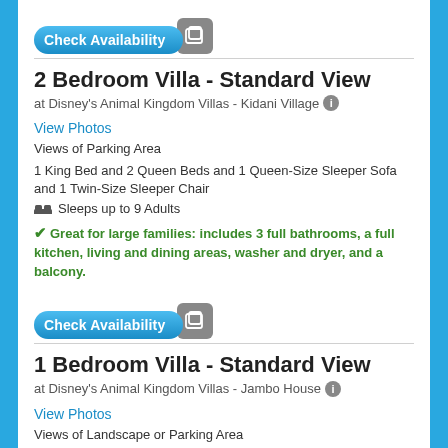[Figure (screenshot): Check Availability button with icon overlay]
2 Bedroom Villa - Standard View
at Disney's Animal Kingdom Villas - Kidani Village
View Photos
Views of Parking Area
1 King Bed and 2 Queen Beds and 1 Queen-Size Sleeper Sofa and 1 Twin-Size Sleeper Chair
Sleeps up to 9 Adults
Great for large families: includes 3 full bathrooms, a full kitchen, living and dining areas, washer and dryer, and a balcony.
[Figure (screenshot): Check Availability button with icon overlay]
1 Bedroom Villa - Standard View
at Disney's Animal Kingdom Villas - Jambo House
View Photos
Views of Landscape or Parking Area
1 King Bed and 1 Queen-Size Sleeper Sofa and 1 Twin-Size Sleeper Chair